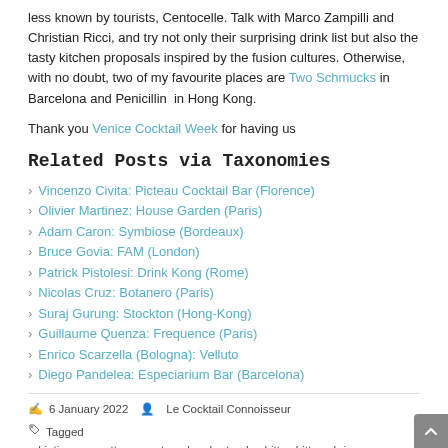less known by tourists, Centocelle. Talk with Marco Zampilli and Christian Ricci, and try not only their surprising drink list but also the tasty kitchen proposals inspired by the fusion cultures. Otherwise, with no doubt, two of my favourite places are Two Schmucks in Barcelona and Penicillin in Hong Kong.
Thank you Venice Cocktail Week for having us
Related Posts via Taxonomies
Vincenzo Civita: Picteau Cocktail Bar (Florence)
Olivier Martinez: House Garden (Paris)
Adam Caron: Symbiose (Bordeaux)
Bruce Govia: FAM (London)
Patrick Pistolesi: Drink Kong (Rome)
Nicolas Cruz: Botanero (Paris)
Suraj Gurung: Stockton (Hong-Kong)
Guillaume Quenza: Frequence (Paris)
Enrico Scarzella (Bologna): Velluto
Diego Pandelea: Especiarium Bar (Barcelona)
6 January 2022  Le Cocktail Connoisseur  Tagged adriatico, amaretto, angostura, bar, bartender, bitter, bitters, brine, Chinato, cocktails, cordial, ECC, Experimental cocktail club, lapsang souchong, liqueur, Lorenza Di Sale, mancino, maraschino, melting pot, Michtens, gardini